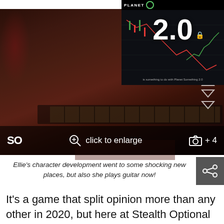[Figure (screenshot): Screenshot from The Last of Us Part II showing Ellie playing guitar in a dark room, overlaid with an inset image of a financial chart showing '2.0' text. Bottom bar has SO logo, magnifier 'click to enlarge' icon, and camera '+4' icon.]
Ellie's character development went to some shocking new places, but also she plays guitar now!
It's a game that split opinion more than any other in 2020, but here at Stealth Optional HQ, we're very much in the camp that thinks Naughty Dog's